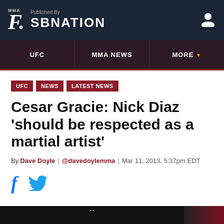MMA F. Published By SBNATION
UFC | MMA NEWS | MORE
UFC
NEWS
LATEST NEWS
Cesar Gracie: Nick Diaz 'should be respected as a martial artist'
By Dave Doyle | @davedoylemma | Mar 11, 2013, 5:37pm EDT